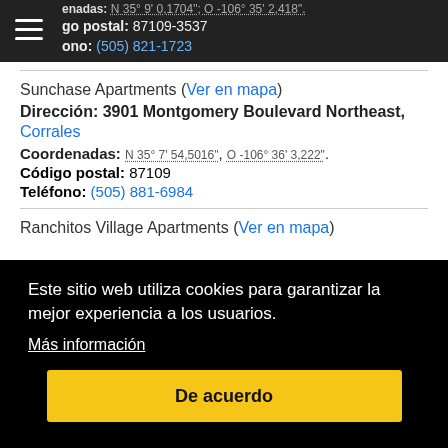Coordenadas: N 35° 9' 0,1704"; O -106° 35' 2,418". Código postal: 87109-3537. Teléfono: (505) 821-1723
Sunchase Apartments (Ver en mapa)
Dirección: 3901 Montgomery Boulevard Northeast, Corrales
Coordenadas: N 35° 7' 54,5016", O -106° 36' 3,222".
Código postal: 87109
Teléfono: (505) 881-6984
Ranchitos Village Apartments (Ver en mapa)
Este sitio web utiliza cookies para garantizar la mejor experiencia a los usuarios.
Más información
De acuerdo
Código postal: 87109-1159